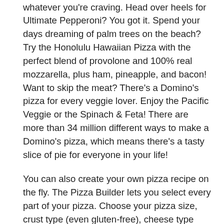taste. Domino's specialty pizzas provide the most thoughtful flavor varieties to satisfy whatever you're craving. Head over heels for Ultimate Pepperoni? You got it. Spend your days dreaming of palm trees on the beach? Try the Honolulu Hawaiian Pizza with the perfect blend of provolone and 100% real mozzarella, plus ham, pineapple, and bacon! Want to skip the meat? There's a Domino's pizza for every veggie lover. Enjoy the Pacific Veggie or the Spinach & Feta! There are more than 34 million different ways to make a Domino's pizza, which means there's a tasty slice of pie for everyone in your life!
You can also create your own pizza recipe on the fly. The Pizza Builder lets you select every part of your pizza. Choose your pizza size, crust type (even gluten-free), cheese type and amount, and any topping that looks too good to pass up. Enjoy your pizza exactly how you want it. After all, pizza is good any way you slice it! And don't forget desserts, bread twists, drinks, and dipping sauces to round out your meal. Wrap up your order and get excited. It's okay to drool a little bit. Deliciousness is in the oven and about to head your way for takeout or delivery near Adrian!